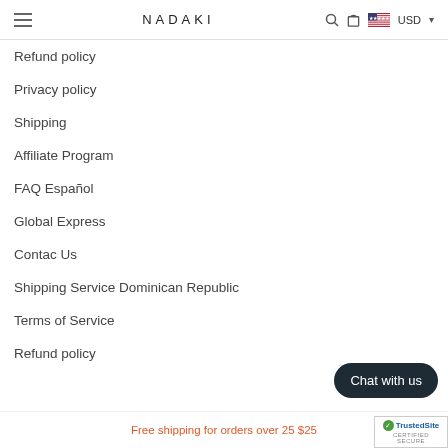NADAKI  USD
Refund policy
Privacy policy
Shipping
Affiliate Program
FAQ Español
Global Express
Contac Us
Shipping Service Dominican Republic
Terms of Service
Refund policy
Chat with us
Free shipping for orders over 25 $25